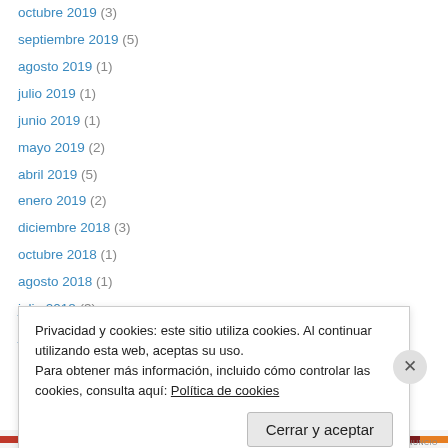octubre 2019 (3)
septiembre 2019 (5)
agosto 2019 (1)
julio 2019 (1)
junio 2019 (1)
mayo 2019 (2)
abril 2019 (5)
enero 2019 (2)
diciembre 2018 (3)
octubre 2018 (1)
agosto 2018 (1)
julio 2018 (3)
junio 2018 (2)
Privacidad y cookies: este sitio utiliza cookies. Al continuar utilizando esta web, aceptas su uso. Para obtener más información, incluido cómo controlar las cookies, consulta aquí: Política de cookies
INFORMA SOBRE ESTE ANUNCIO